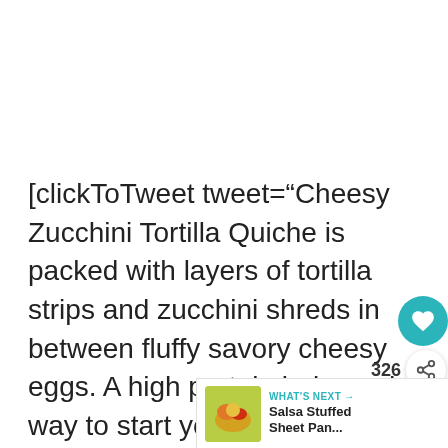[clickToTweet tweet="Cheesy Zucchini Tortilla Quiche is packed with layers of tortilla strips and zucchini shreds in between fluffy savory cheesy eggs. A high protein balanced way to start your day! #glutenfree" quote="Cheesy Zucchini Tortilla Quiche is packed with layers of tortilla strips and zucchini shreds in between fluffy savory cheesy eggs. A high protein balanced way to start your day! #glutenfree"]
[Figure (other): UI overlay with heart button (teal circle), share count 326, and share icon]
[Figure (other): "What's Next" recommendation widget showing Salsa Stuffed Sheet Pan... with a food image thumbnail]